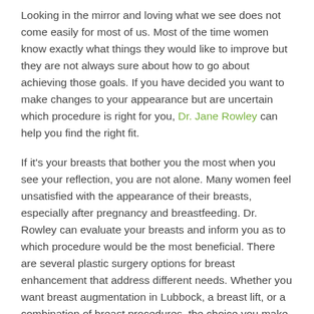Looking in the mirror and loving what we see does not come easily for most of us. Most of the time women know exactly what things they would like to improve but they are not always sure about how to go about achieving those goals. If you have decided you want to make changes to your appearance but are uncertain which procedure is right for you, Dr. Jane Rowley can help you find the right fit.
If it's your breasts that bother you the most when you see your reflection, you are not alone. Many women feel unsatisfied with the appearance of their breasts, especially after pregnancy and breastfeeding. Dr. Rowley can evaluate your breasts and inform you as to which procedure would be the most beneficial. There are several plastic surgery options for breast enhancement that address different needs. Whether you want breast augmentation in Lubbock, a breast lift, or a combination of breast procedures, the choice you make depends on your personal needs and cosmetic goals.